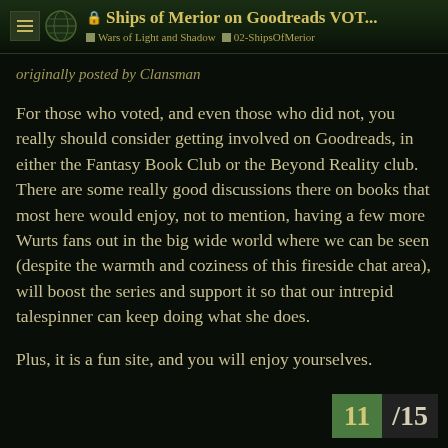Ships of Merior on Goodreads VOT... | Wars of Light and Shadow | 02-ShipsOfMerior
originally posted by Clansman
For those who voted, and even those who did not, you really should consider getting involved on Goodreads, in either the Fantasy Book Club or the Beyond Reality club. There are some really good discussions there on books that most here would enjoy, not to mention, having a few more Wurts fans out in the big wide world where we can be seen (despite the warmth and coziness of this fireside chat area), will boost the series and support it so that our intrepid talespinner can keep doing what she does.
Plus, it is a fun site, and you will enjoy yourselves.
11 / 15